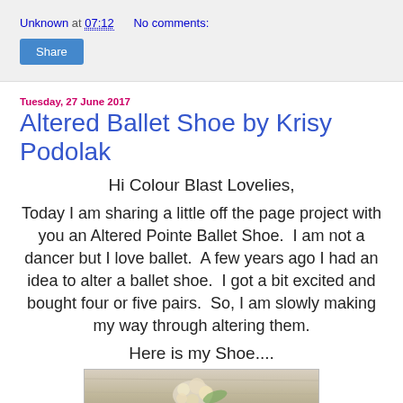Unknown at 07:12   No comments:
Share
Tuesday, 27 June 2017
Altered Ballet Shoe by Krisy Podolak
Hi Colour Blast Lovelies,
Today I am sharing a little off the page project with you an Altered Pointe Ballet Shoe.  I am not a dancer but I love ballet.  A few years ago I had an idea to alter a ballet shoe.  I got a bit excited and bought four or five pairs.  So, I am slowly making my way through altering them.
Here is my Shoe....
[Figure (photo): Photo of an altered ballet shoe with floral decorations on a wooden surface]